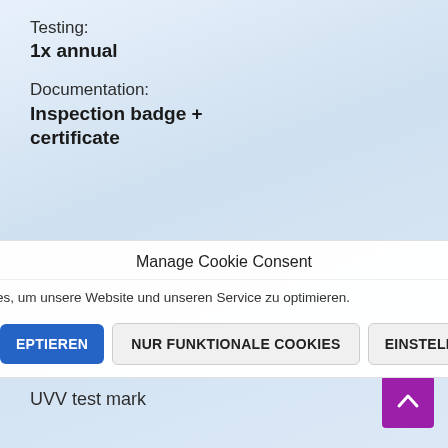Testing:
1x annual
Documentation:
Inspection badge + certificate
Manage Cookie Consent
es, um unsere Website und unseren Service zu optimieren.
EPTIEREN
NUR FUNKTIONALE COOKIES
EINSTELLUNG
UVV test mark